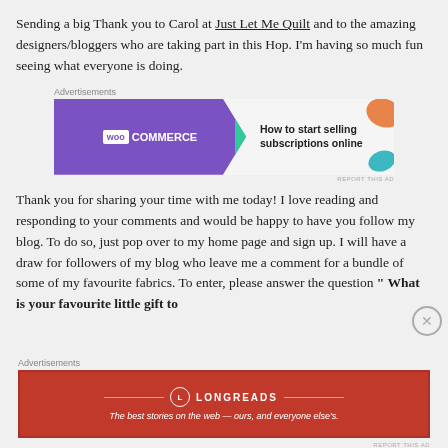Sending a big Thank you to Carol at Just Let Me Quilt and to the amazing designers/bloggers who are taking part in this Hop. I'm having so much fun seeing what everyone is doing.
[Figure (screenshot): WooCommerce advertisement banner: purple background with WooCommerce logo on left, text 'How to start selling subscriptions online' on right, decorative shapes in teal and orange]
Thank you for sharing your time with me today! I love reading and responding to your comments and would be happy to have you follow my blog. To do so, just pop over to my home page and sign up. I will have a draw for followers of my blog who leave me a comment for a bundle of some of my favourite fabrics. To enter, please answer the question " What is your favourite little gift to
[Figure (screenshot): Longreads advertisement banner: dark red background with Longreads logo and tagline 'The best stories on the web — ours, and everyone else's.']